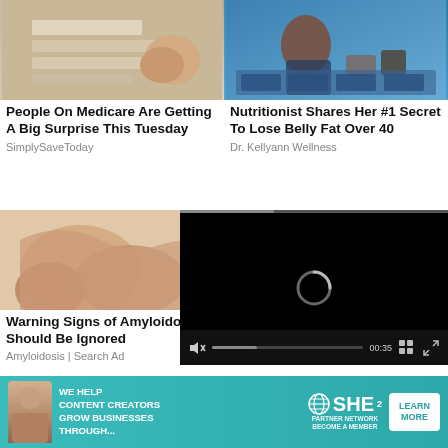[Figure (photo): Hands holding papers/checks, financial documents on a surface]
People On Medicare Are Getting A Big Surprise This Tuesday
SimplySaveToday
[Figure (photo): Nutritionist or TV host at a table with food jars and blender on a set]
Nutritionist Shares Her #1 Secret To Lose Belly Fat Over 40
Dr. Kellyann Wellness
[Figure (photo): Close-up of legs and feet being massaged or examined]
Warning Signs of Amyloidosis Should Be Ignored
Amyloidosis | Search Ad
[Figure (photo): Aloe vera pieces and cream on a wooden surface]
[Figure (screenshot): Video player overlay showing loading spinner and controls with 00:35 timestamp]
[Figure (photo): Close-up of man's face]
[Figure (photo): Aerial view of green landscape with camera]
[Figure (photo): Advertisement banner: SHE Partner Network - We help content creators grow businesses through... Learn More]